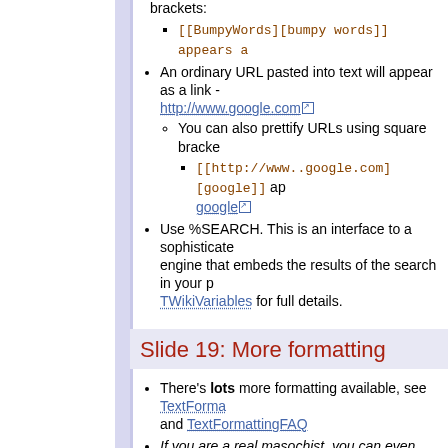brackets:
[[BumpyWords][bumpy words]] appears a
An ordinary URL pasted into text will appear as a link - http://www.google.com
You can also prettify URLs using square bracke
[[http://www..google.com][google]] ap google
Use %SEARCH. This is an interface to a sophisticated engine that embeds the results of the search in your p TWikiVariables for full details.
Slide 19: More formatting
There's lots more formatting available, see TextForma and TextFormattingFAQ
If you are a real masochist, you can even enter raw H
Important to disable unwanted formatting, use <nop>
<nop>_word_ appears as _word_
Slide 20: Creating new pages
Alternative ways: